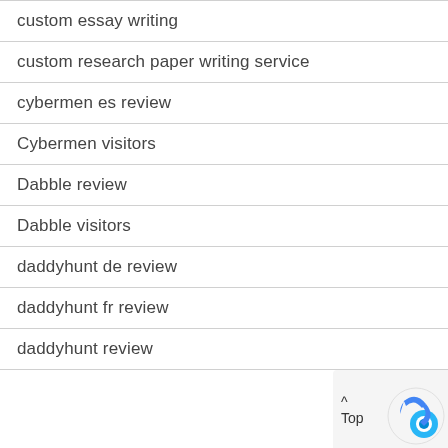custom essay writing
custom research paper writing service
cybermen es review
Cybermen visitors
Dabble review
Dabble visitors
daddyhunt de review
daddyhunt fr review
daddyhunt review